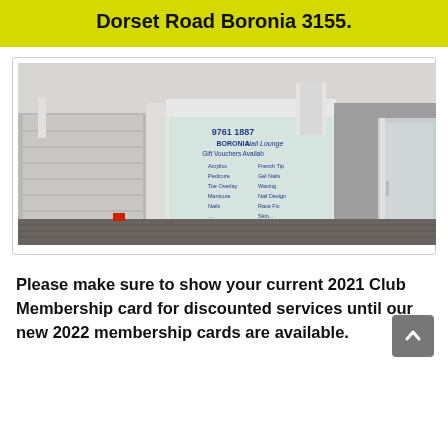Dorset Road Boronia 3155.
[Figure (photo): Street-level photo of a shopping strip storefront featuring Boronia Nail Lounge with window signage showing phone number 9761 1887, services listed including Gift Vouchers Available, and shuttered adjacent shopfront]
Please make sure to show your current 2021 Club Membership card for discounted services until our new 2022 membership cards are available.